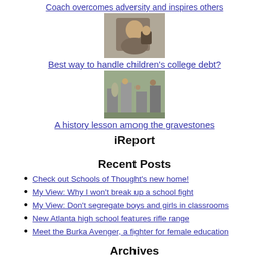Coach overcomes adversity and inspires others
[Figure (photo): Photo of a woman being interviewed outdoors]
Best way to handle children's college debt?
[Figure (photo): Photo of people gathered among gravestones]
A history lesson among the gravestones
iReport
Recent Posts
Check out Schools of Thought's new home!
My View: Why I won't break up a school fight
My View: Don't segregate boys and girls in classrooms
New Atlanta high school features rifle range
Meet the Burka Avenger, a fighter for female education
Archives